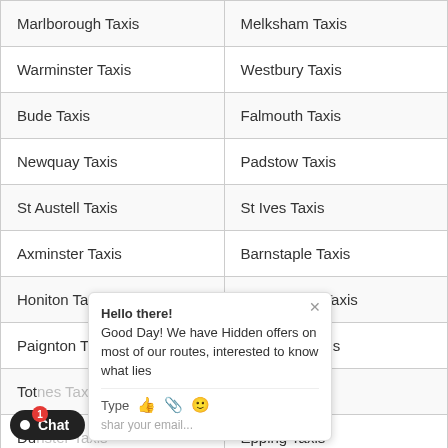| Marlborough Taxis | Melksham Taxis |
| Warminster Taxis | Westbury Taxis |
| Bude Taxis | Falmouth Taxis |
| Newquay Taxis | Padstow Taxis |
| St Austell Taxis | St Ives Taxis |
| Axminster Taxis | Barnstaple Taxis |
| Honiton Taxis | Kingsbridge Taxis |
| Paignton Taxis | Tavistock Taxis |
| Totnes Taxis | Essex Taxis |
| Dunster Taxis | Epping Taxis |
| Halstead Taxis | Haverhill Taxis |
| Maldon Taxis | Rayleigh Taxis |
| Tilbury Taxis | Wickford Taxis |